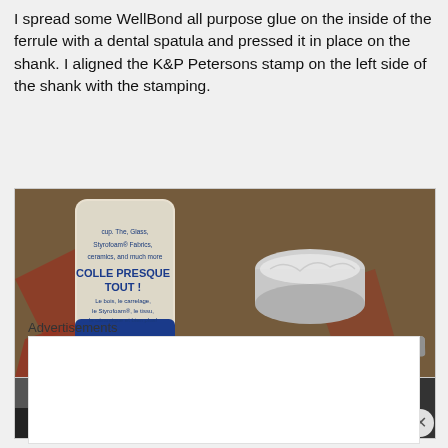I spread some WellBond all purpose glue on the inside of the ferrule with a dental spatula and pressed it in place on the shank. I aligned the K&P Petersons stamp on the left side of the shank with the stamping.
[Figure (photo): Photo of a small bottle of WellBond all purpose glue (labeled 'COLLE PRESQUE TOUT!' and '60 mL / 2 fl. oz.'), a small metal measuring cup/ferrule, and a dental spatula, all placed on a patterned rug.]
[Figure (photo): Partial photo showing dark objects on a checkered surface, partially cropped at bottom of page.]
Advertisements